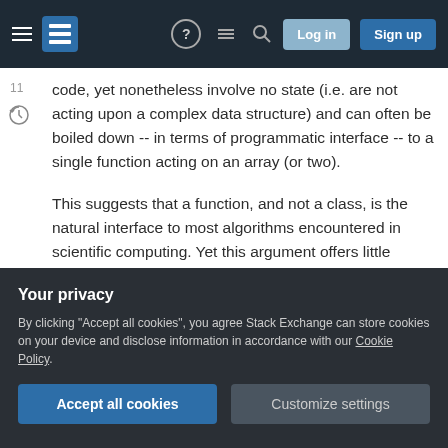Stack Exchange navigation header with hamburger menu, logo, help, chat, search, Log in, Sign up buttons
code, yet nonetheless involve no state (i.e. are not acting upon a complex data structure) and can often be boiled down -- in terms of programmatic interface -- to a single function acting on an array (or two).
This suggests that a function, and not a class, is the natural interface to most algorithms encountered in scientific computing. Yet this argument offers little insight regarding how the implementation of complex, multi-part algorithms should be handled.
Whil the traditional approach has been to...
Your privacy
By clicking "Accept all cookies", you agree Stack Exchange can store cookies on your device and disclose information in accordance with our Cookie Policy.
Accept all cookies
Customize settings
mean creating a class wherein the algorithm inputs